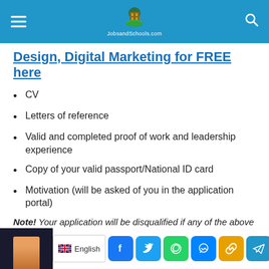JobsandSchools.com
Design, Digital Marketing for FREE here
CV
Letters of reference
Valid and completed proof of work and leadership experience
Copy of your valid passport/National ID card
Motivation (will be asked of you in the application portal)
Note! Your application will be disqualified if any of the above is missing.
[Figure (screenshot): Footer with language selector showing English with UK flag, and social media share buttons for Facebook, Twitter, WhatsApp, Messenger, link, Telegram, SMS, and more.]